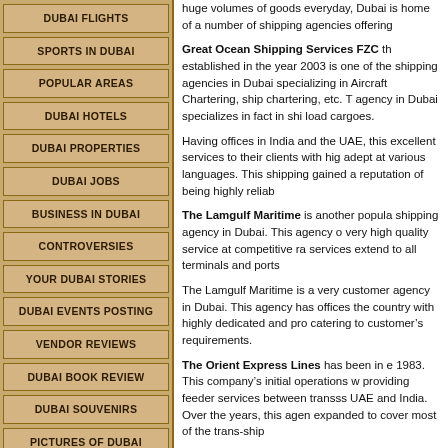DUBAI FLIGHTS
SPORTS IN DUBAI
POPULAR AREAS
DUBAI HOTELS
DUBAI PROPERTIES
DUBAI JOBS
BUSINESS IN DUBAI
CONTROVERSIES
YOUR DUBAI STORIES
DUBAI EVENTS POSTING
VENDOR REVIEWS
DUBAI BOOK REVIEW
DUBAI SOUVENIRS
PICTURES OF DUBAI
DUBAI NEWSLETTER
huge volumes of goods everyday, Dubai is home of a number of shipping agencies offering...
Great Ocean Shipping Services FZC th... established in the year 2003 is one of the shipping agencies in Dubai specializing in Aircraft Chartering, ship chartering, etc. This agency in Dubai specializes in fact in ship... load cargoes.
Having offices in India and the UAE, this... excellent services to their clients with hig... adept at various languages. This shipping... gained a reputation of being highly reliab...
The Lamgulf Maritime is another popula... shipping agency in Dubai. This agency o... very high quality service at competitive ra... services extend to all terminals and ports...
The Lamgulf Maritime is a very customer... agency in Dubai. This agency has offices... the country with highly dedicated and pro... catering to customer’s requirements.
The Orient Express Lines has been in e... 1983. This company’s initial operations w... providing feeder services between transss... UAE and India. Over the years, this agen... expanded to cover most of the trans-ship...